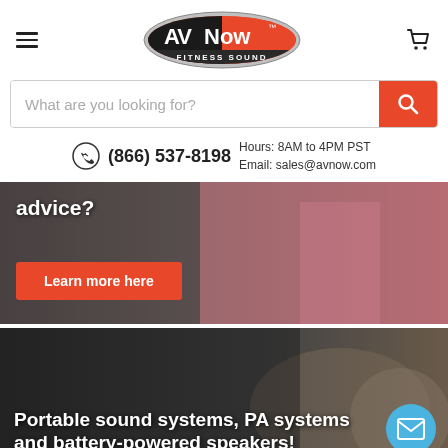[Figure (logo): AV Now Fitness Sound logo — red oval with black AV and white Now text, FITNESS SOUND underneath]
[Figure (screenshot): Search bar with placeholder 'What are you looking for?' and orange search button]
(866) 537-8198  Hours: 8AM to 4PM PST  Email: sales@avnow.com
[Figure (photo): Fitness/workout banner image showing a person in a pink sports bra running or exercising, with text 'advice?' and a 'Learn more here' orange button]
[Figure (photo): Fitness class background image with text: Portable sound systems, PA systems and battery-powered speakers! and a blue circular email button]